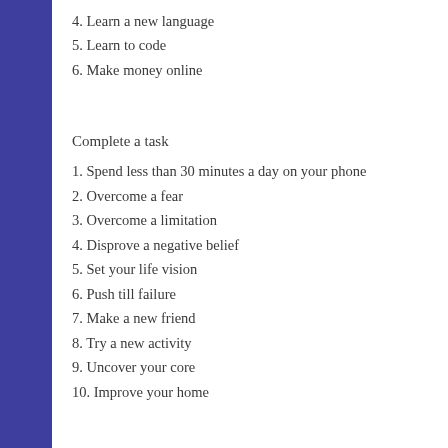4. Learn a new language
5. Learn to code
6. Make money online
Complete a task
1. Spend less than 30 minutes a day on your phone
2. Overcome a fear
3. Overcome a limitation
4. Disprove a negative belief
5. Set your life vision
6. Push till failure
7. Make a new friend
8. Try a new activity
9. Uncover your core
10. Improve your home